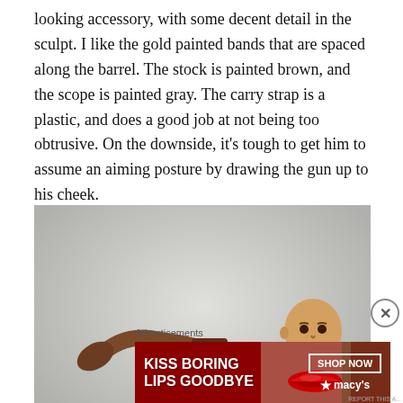looking accessory, with some decent detail in the sculpt. I like the gold painted bands that are spaced along the barrel. The stock is painted brown, and the scope is painted gray. The carry strap is a plastic, and does a good job at not being too obtrusive. On the downside, it's tough to get him to assume an aiming posture by drawing the gun up to his cheek.
[Figure (photo): Photo of an action figure of a bald man in black outfit holding a large brown curved weapon/gun up to his cheek, shown against a light gray background.]
Advertisements
[Figure (photo): Advertisement banner for Macy's cosmetics showing a woman's face with red lips. Text reads 'KISS BORING LIPS GOODBYE' with a 'SHOP NOW' button and Macy's star logo.]